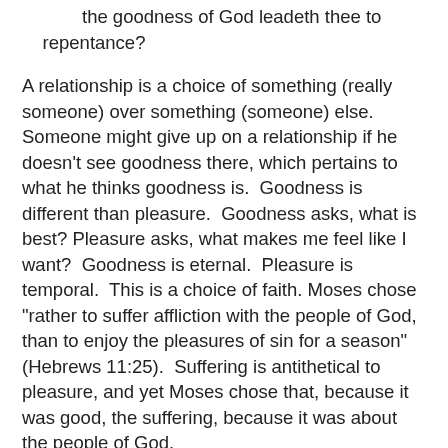the goodness of God leadeth thee to repentance?
A relationship is a choice of something (really someone) over something (someone) else. Someone might give up on a relationship if he doesn't see goodness there, which pertains to what he thinks goodness is. Goodness is different than pleasure. Goodness asks, what is best? Pleasure asks, what makes me feel like I want? Goodness is eternal. Pleasure is temporal. This is a choice of faith. Moses chose "rather to suffer affliction with the people of God, than to enjoy the pleasures of sin for a season" (Hebrews 11:25). Suffering is antithetical to pleasure, and yet Moses chose that, because it was good, the suffering, because it was about the people of God.
Someone enjoys the pleasures of sin for a season, but he sacrifices meaning and fulfillment. The person is pleased but God isn't pleased. Goodness versus pleasure often pits young people against parents. Parents instruct and discipline, which relate to goodness, while young friends, entertainment, and fun constitute the pleasure that competes with the goodness parents offer. Parents say no...